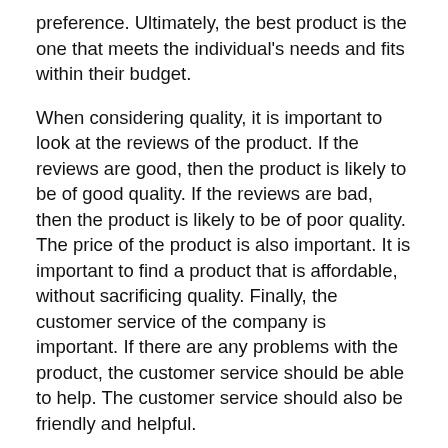preference. Ultimately, the best product is the one that meets the individual's needs and fits within their budget.
When considering quality, it is important to look at the reviews of the product. If the reviews are good, then the product is likely to be of good quality. If the reviews are bad, then the product is likely to be of poor quality. The price of the product is also important. It is important to find a product that is affordable, without sacrificing quality. Finally, the customer service of the company is important. If there are any problems with the product, the customer service should be able to help. The customer service should also be friendly and helpful.